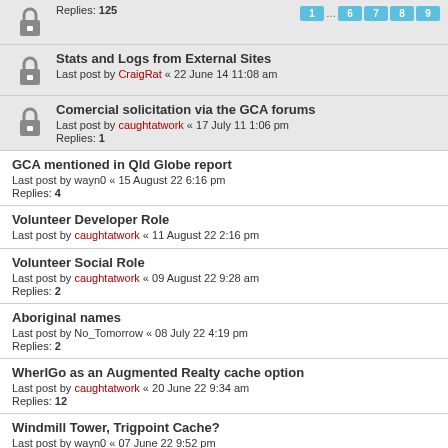Replies: 125 | pages: 1 … 6 7 8 9
Stats and Logs from External Sites
Last post by CraigRat « 22 June 14 11:08 am
Comercial solicitation via the GCA forums
Last post by caughtatwork « 17 July 11 1:06 pm
Replies: 1
GCA mentioned in Qld Globe report
Last post by wayn0 « 15 August 22 6:16 pm
Replies: 4
Volunteer Developer Role
Last post by caughtatwork « 11 August 22 2:16 pm
Volunteer Social Role
Last post by caughtatwork « 09 August 22 9:28 am
Replies: 2
Aboriginal names
Last post by No_Tomorrow « 08 July 22 4:19 pm
Replies: 2
WherIGo as an Augmented Realty cache option
Last post by caughtatwork « 20 June 22 9:34 am
Replies: 12
Windmill Tower, Trigpoint Cache?
Last post by wayn0 « 07 June 22 9:52 pm
Replies: 2
2022 Hosting has been paid